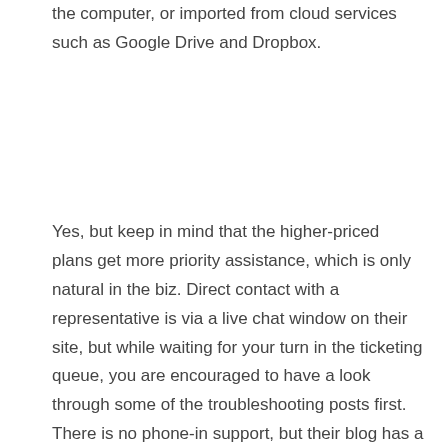the computer, or imported from cloud services such as Google Drive and Dropbox.
Does Teachable have customer support?
Yes, but keep in mind that the higher-priced plans get more priority assistance, which is only natural in the biz. Direct contact with a representative is via a live chat window on their site, but while waiting for your turn in the ticketing queue, you are encouraged to have a look through some of the troubleshooting posts first. There is no phone-in support, but their blog has a wealth of tips and tricks, weekly live workshops, and an online academy with movie tutorials — teaching users to educate their customers!
Conclusion
We hope this review has helped define and present some terms